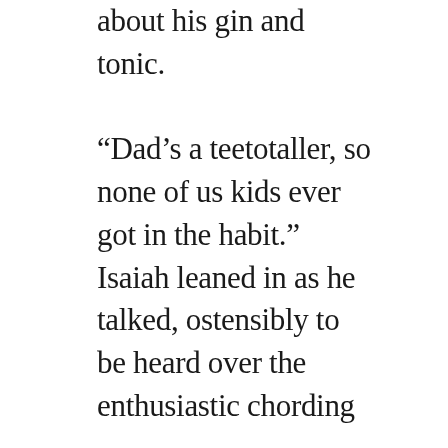about his gin and tonic.

“Dad’s a teetotaller, so none of us kids ever got in the habit.” Isaiah leaned in as he talked, ostensibly to be heard over the enthusiastic chording